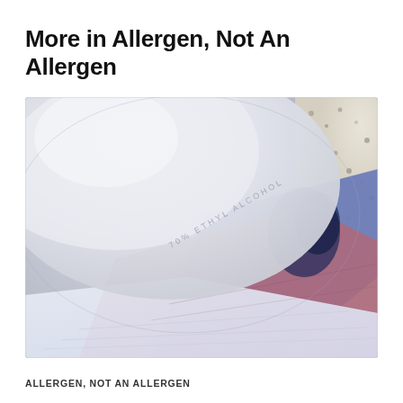More in Allergen, Not An Allergen
[Figure (photo): Close-up photo of a white plastic bottle of 70% Ethyl Alcohol with embossed text reading '70% ETHYL ALCOHOL', resting on a colorful cloth surface with blue, red, and white pattern, against a speckled countertop background.]
ALLERGEN, NOT AN ALLERGEN